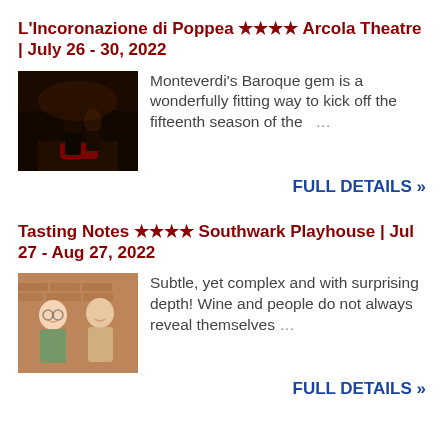L'Incoronazione di Poppea ★★★★ Arcola Theatre | July 26 - 30, 2022
[Figure (photo): Two performers on stage in a dark theatrical scene, one leaning toward the other near a red cushion]
Monteverdi's Baroque gem is a wonderfully fitting way to kick off the fifteenth season of the ...
FULL DETAILS »
Tasting Notes ★★★★ Southwark Playhouse | Jul 27 - Aug 27, 2022
[Figure (photo): Two people standing in what appears to be a wine bar or restaurant setting, smiling]
Subtle, yet complex and with surprising depth! Wine and people do not always reveal themselves ...
FULL DETAILS »